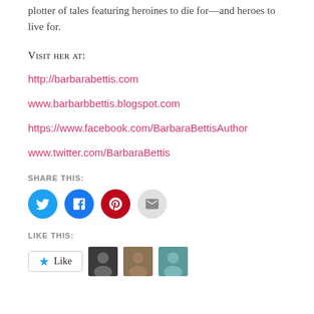plotter of tales featuring heroines to die for—and heroes to live for.
Visit her at:
http://barbarabettis.com
www.barbarbbettis.blogspot.com
https://www.facebook.com/BarbaraBettisAuthor
www.twitter.com/BarbaraBettis
SHARE THIS:
[Figure (infographic): Four social share icon buttons: Twitter (blue circle with bird), Facebook (blue circle with F), Pinterest (red circle with P), Email (grey circle with envelope)]
LIKE THIS:
[Figure (infographic): Like button widget with star icon and three user avatar photos]